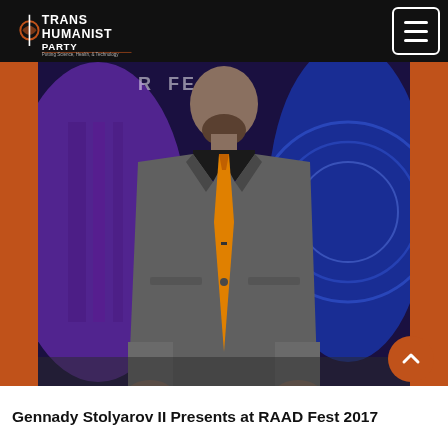Transhumanist Party - Putting Science, Health, & Technology at the Forefront of American Politics
[Figure (photo): A man in a gray suit with an orange tie standing in front of a colorful blue and purple illuminated backdrop at RAAD Fest 2017]
Gennady Stolyarov II Presents at RAAD Fest 2017